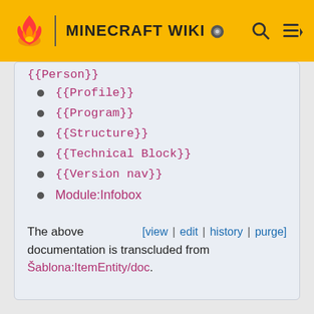MINECRAFT WIKI
{{Person}}
{{Profile}}
{{Program}}
{{Structure}}
{{Technical Block}}
{{Version nav}}
Module:Infobox
The above documentation is transcluded from Šablona:ItemEntity/doc.
[view | edit | history | purge]